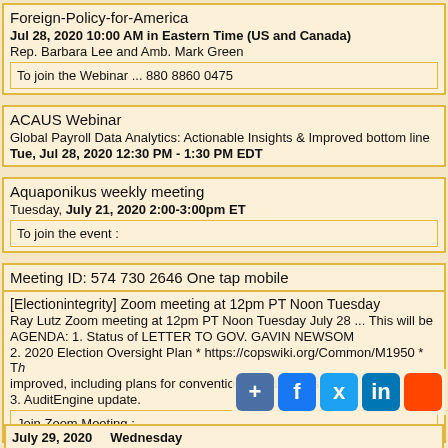Foreign-Policy-for-America
Jul 28, 2020 10:00 AM in Eastern Time (US and Canada)
Rep. Barbara Lee and Amb. Mark Green
To join the Webinar ... 880 8860 0475
ACAUS Webinar
Global Payroll Data Analytics: Actionable Insights & Improved bottom line
Tue, Jul 28, 2020 12:30 PM - 1:30 PM EDT
Aquaponikus weekly meeting
Tuesday, July 21, 2020 2:00-3:00pm ET
To join the event :
Meeting ID: 574 730 2646 One tap mobile
[Electionintegrity] Zoom meeting at 12pm PT Noon Tuesday
Ray Lutz Zoom meeting at 12pm PT Noon Tuesday July 28 ... This will be
AGENDA: 1. Status of LETTER TO GOV. GAVIN NEWSOM
2. 2020 Election Oversight Plan * https://copswiki.org/Common/M1950 * Th improved, including plans for conventional audit oversight
3. AuditEngine update.
Join Zoom Meeting :
July 29, 2020     Wednesday